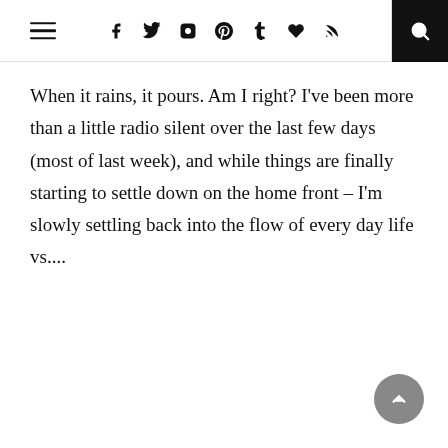Navigation header with hamburger menu, social icons (Facebook, Twitter, Instagram, Pinterest, Tumblr, Bloglovin, RSS), and search
When it rains, it pours. Am I right? I’ve been more than a little radio silent over the last few days (most of last week), and while things are finally starting to settle down on the home front – I’m slowly settling back into the flow of every day life vs....